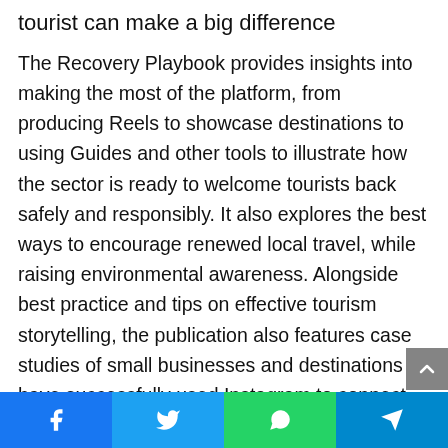tourist can make a big difference
The Recovery Playbook provides insights into making the most of the platform, from producing Reels to showcase destinations to using Guides and other tools to illustrate how the sector is ready to welcome tourists back safely and responsibly. It also explores the best ways to encourage renewed local travel, while raising environmental awareness. Alongside best practice and tips on effective tourism storytelling, the publication also features case studies of small businesses and destinations have successfully used Instagram to connect with key audiences during the pandemic.
In his foreword to the Tourism Recovery Playbook, UNWTO Secretary-General Zurab Pololikashvili says: “As parts of the world begin cautiously opening up again, now is the time to
Facebook | Twitter | WhatsApp | Telegram